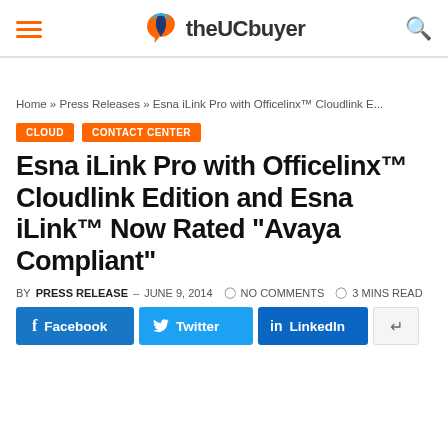theUCbuyer
Home » Press Releases » Esna iLink Pro with Officelinx™ Cloudlink E...
CLOUD
CONTACT CENTER
Esna iLink Pro with Officelinx™ Cloudlink Edition and Esna iLink™ Now Rated “Avaya Compliant”
BY PRESS RELEASE – JUNE 9, 2014   NO COMMENTS   3 MINS READ
Facebook   Twitter   LinkedIn